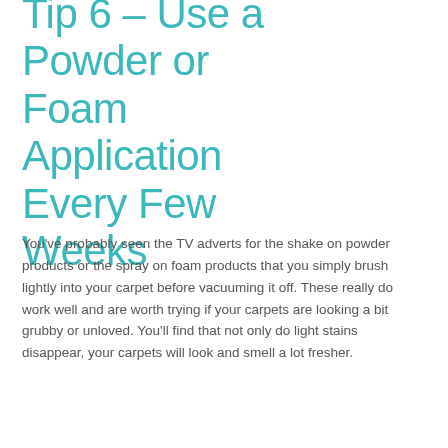Tip 6 – Use a Powder or Foam Application Every Few Weeks
You've probably seen the TV adverts for the shake on powder products or the spray on foam products that you simply brush lightly into your carpet before vacuuming it off. These really do work well and are worth trying if your carpets are looking a bit grubby or unloved. You'll find that not only do light stains disappear, your carpets will look and smell a lot fresher.